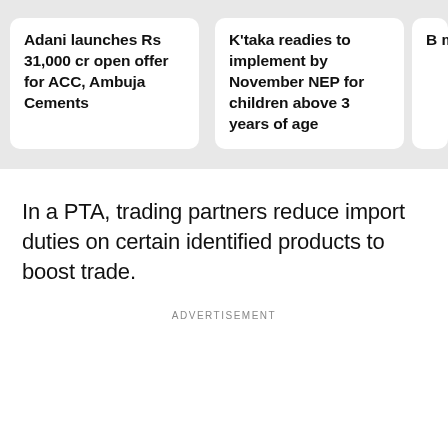Adani launches Rs 31,000 cr open offer for ACC, Ambuja Cements
K'taka readies to implement by November NEP for children above 3 years of age
In a PTA, trading partners reduce import duties on certain identified products to boost trade.
ADVERTISEMENT
He also said that there is a vast potential to boost bilateral trade and investments between the countries.
The bilateral trade has increased from USD 5.4 billion in